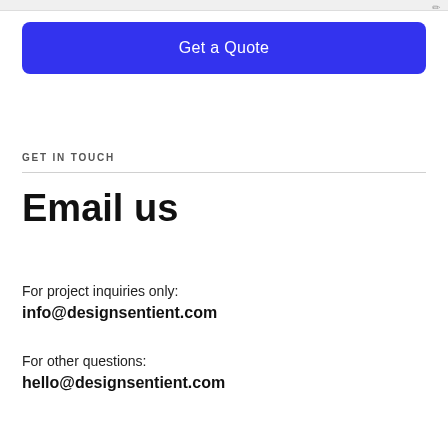[Figure (screenshot): Top toolbar strip with pencil/edit icon at top right]
Get a Quote
GET IN TOUCH
Email us
For project inquiries only:
info@designsentient.com
For other questions:
hello@designsentient.com